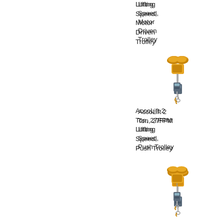Lifting Speed, Motor Driven Trolley
[Figure (illustration): AccoLift electric chain hoist with motor driven trolley, gold/yellow color]
AccoLift 2 Ton, 27FPM Lifting Speed, Push Trolley
[Figure (illustration): AccoLift electric chain hoist with push trolley, gold/yellow color]
AccoLift 2 Ton, 27FPM Lifting Speed, Top Hook
[Figure (illustration): AccoLift electric chain hoist with top hook, gold/yellow color, partially visible]